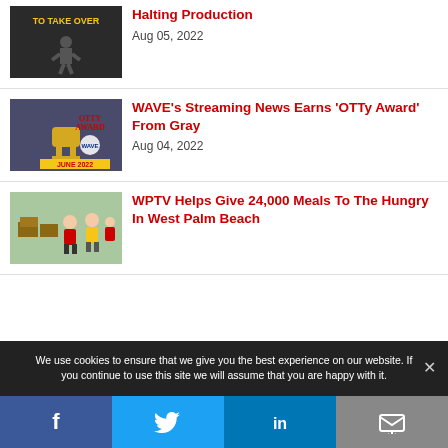[Figure (photo): Dark image with text 'TO TAKE OVER' in yellow and a silhouette figure]
Halting Production
Aug 05, 2022
[Figure (photo): OTTY Award trophy image with text 'OTTY AWARD WAVE JUNE 2022' in red]
WAVE's Streaming News Earns 'OTTy Award' From Gray
Aug 04, 2022
[Figure (photo): People at a food distribution event outdoors]
WPTV Helps Give 24,000 Meals To The Hungry In West Palm Beach
We use cookies to ensure that we give you the best experience on our website. If you continue to use this site we will assume that you are happy with it.